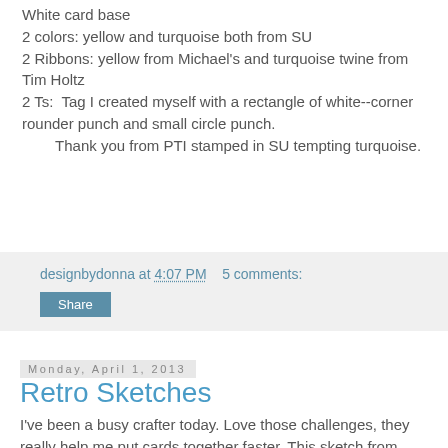White card base
2 colors: yellow and turquoise both from SU
2 Ribbons: yellow from Michael's and turquoise twine from Tim Holtz
2 Ts:  Tag I created myself with a rectangle of white--corner rounder punch and small circle punch.
        Thank you from PTI stamped in SU tempting turquoise.
designbydonna at 4:07 PM    5 comments:
Share
Monday, April 1, 2013
Retro Sketches
I've been a busy crafter today. Love those challenges, they really help me put cards together faster. This sketch from Retro Sketches was so fun to do.